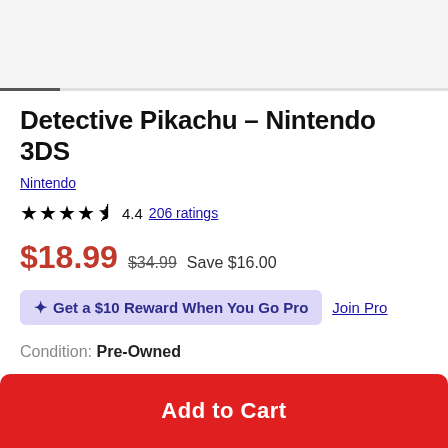Detective Pikachu – Nintendo 3DS
Nintendo
4.4 206 ratings
$18.99 $34.99 Save $16.00
Get a $10 Reward When You Go Pro Join Pro
Condition: Pre-Owned
Add to Cart